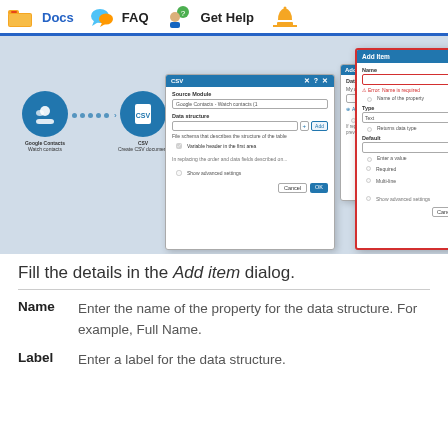Docs  FAQ  Get Help
[Figure (screenshot): Screenshot of a workflow automation tool showing Google Contacts connected to CSV module, with overlapping dialog panels: CSV configuration dialog, Add data structure dialog, and Add item dialog with red border highlighting the Name, Type, and Default fields.]
Fill the details in the Add item dialog.
| Field | Description |
| --- | --- |
| Name | Enter the name of the property for the data structure. For example, Full Name. |
| Label | Enter a label for the data structure. |